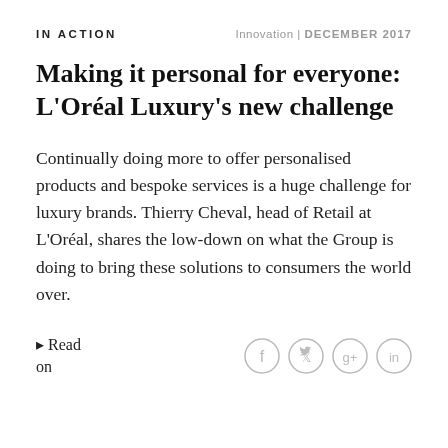IN ACTION | Innovation | DECEMBER 2017
Making it personal for everyone: L'Oréal Luxury's new challenge
Continually doing more to offer personalised products and bespoke services is a huge challenge for luxury brands. Thierry Cheval, head of Retail at L'Oréal, shares the low-down on what the Group is doing to bring these solutions to consumers the world over.
→ Read on
[Figure (illustration): Social media sharing icons: Facebook, Twitter, Google+, LinkedIn — grey circle outlines]